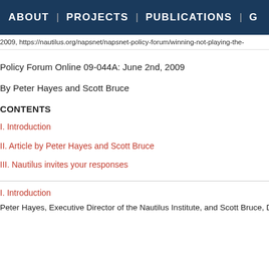ABOUT | PROJECTS | PUBLICATIONS | G
2009, https://nautilus.org/napsnet/napsnet-policy-forum/winning-not-playing-the-
Policy Forum Online 09-044A: June 2nd, 2009
By Peter Hayes and Scott Bruce
CONTENTS
I. Introduction
II. Article by Peter Hayes and Scott Bruce
III. Nautilus invites your responses
I. Introduction
Peter Hayes, Executive Director of the Nautilus Institute, and Scott Bruce, Direc